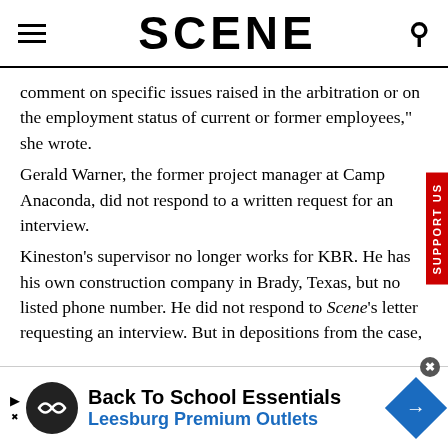SCENE
comment on specific issues raised in the arbitration or on the employment status of current or former employees," she wrote.
Gerald Warner, the former project manager at Camp Anaconda, did not respond to a written request for an interview.
Kineston's supervisor no longer works for KBR. He has his own construction company in Brady, Texas, but no listed phone number. He did not respond to Scene's letter requesting an interview. But in depositions from the case,
[Figure (other): Advertisement banner: Back To School Essentials - Leesburg Premium Outlets]